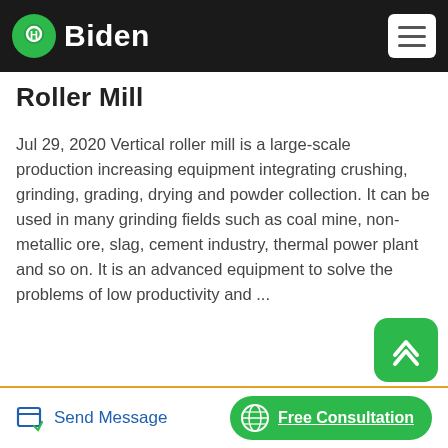Biden
Roller Mill
Jul 29, 2020 Vertical roller mill is a large-scale production increasing equipment integrating crushing, grinding, grading, drying and powder collection. It can be used in many grinding fields such as coal mine, non-metallic ore, slag, cement industry, thermal power plant and so on. It is an advanced equipment to solve the problems of low productivity and ...
[Figure (photo): Industrial vertical roller mill machinery in a factory setting, showing large cylindrical grinding equipment with red trim bands and steel scaffolding structure.]
Send Message | Free Consultation